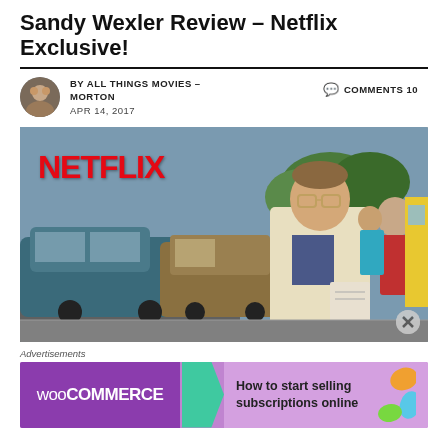Sandy Wexler Review – Netflix Exclusive!
BY ALL THINGS MOVIES – MORTON   COMMENTS 10
APR 14, 2017
[Figure (photo): Movie still from Sandy Wexler on Netflix. Shows a man in a cream jacket and patterned shirt holding papers, standing on a busy street. Netflix logo in red in the upper left corner. Close button in lower right corner.]
Advertisements
[Figure (screenshot): WooCommerce advertisement banner with purple background. WooCommerce logo on left with green arrow shape, text reads: How to start selling subscriptions online. Orange decorative elements on right.]